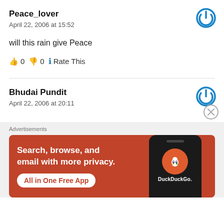Peace_lover
April 22, 2006 at 15:52
will this rain give Peace
👍 0 👎 0 🔵 Rate This
Bhudai Pundit
April 22, 2006 at 20:11
[Figure (other): DuckDuckGo advertisement banner: Search, browse, and email with more privacy. All in One Free App.]